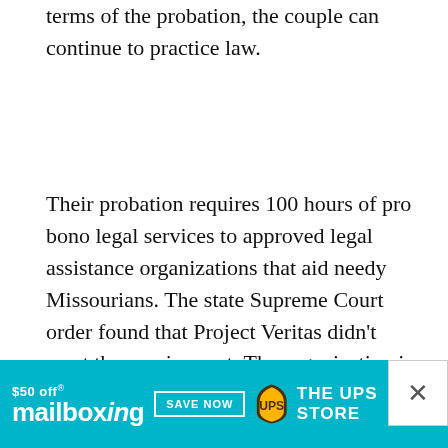terms of the probation, the couple can continue to practice law.
Their probation requires 100 hours of pro bono legal services to approved legal assistance organizations that aid needy Missourians. The state Supreme Court order found that Project Veritas didn't meet the requirement. The organization is known for hidden camera stings that have embarrassed news outlets, labor organizations and Democratic politicians.
“If Project Veritas doesn’t meet the standard then I don’t know what does because they pursu… [can’t afford…]
[Figure (other): Advertisement banner for mailboxing and The UPS Store, offering $50 off. Teal/cyan background with white text and UPS logo. Has a close button (X) on the right.]